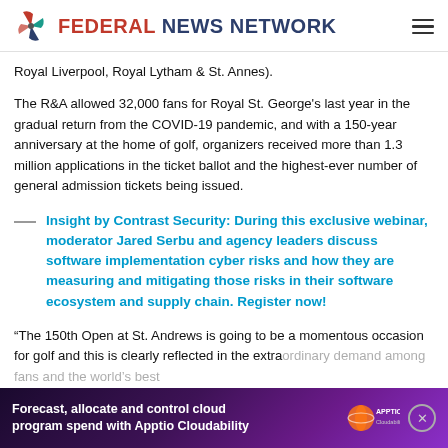Federal News Network
Royal Liverpool, Royal Lytham & St. Annes).
The R&A allowed 32,000 fans for Royal St. George's last year in the gradual return from the COVID-19 pandemic, and with a 150-year anniversary at the home of golf, organizers received more than 1.3 million applications in the ticket ballot and the highest-ever number of general admission tickets being issued.
Insight by Contrast Security: During this exclusive webinar, moderator Jared Serbu and agency leaders discuss software implementation cyber risks and how they are measuring and mitigating those risks in their software ecosystem and supply chain. Register now!
“The 150th Open at St. Andrews is going to be a momentous occasion for golf and this is clearly reflected in the extraordinary demand among fans and the world’s best playing field assembling at St. Andrews,” said. “We a
[Figure (other): Apptio Cloudability advertisement banner at the bottom of the page: 'Forecast, allocate and control cloud program spend with Apptio Cloudability']